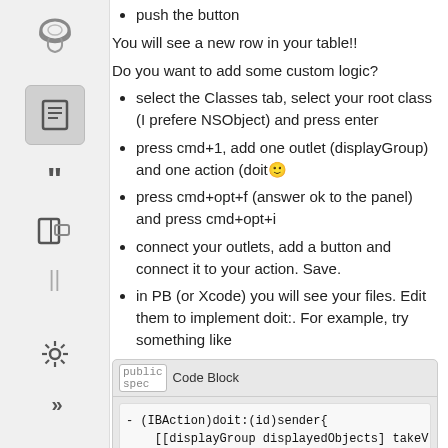push the button
You will see a new row in your table!!
Do you want to add some custom logic?
select the Classes tab, select your root class (I prefere NSObject) and press enter
press cmd+1, add one outlet (displayGroup) and one action (doit🙂
press cmd+opt+f (answer ok to the panel) and press cmd+opt+i
connect your outlets, add a button and connect it to your action. Save.
in PB (or Xcode) you will see your files. Edit them to implement doit:. For example, try something like
[Figure (screenshot): Code Block panel showing Objective-C code: - (IBAction)doit:(id)sender{ [[displayGroup displayedObjects] takeV... }]
in PB (or Xcode) press cmd+r